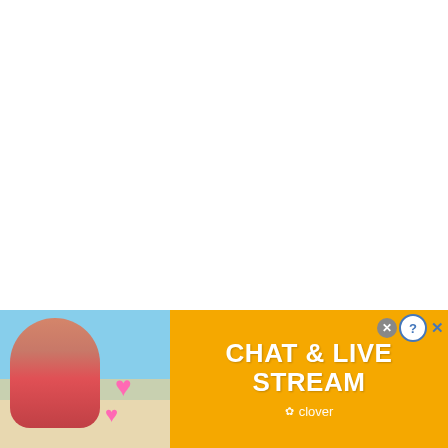How To Change Your DNA RIGHT NOW
[Figure (screenshot): Clover app advertisement banner with 'CHAT & LIVE STREAM' text, showing a woman on a beach background with pink hearts, orange/yellow background, and Clover logo]
[Figure (photo): Small circular thumbnail image with golden/orange sparkle texture]